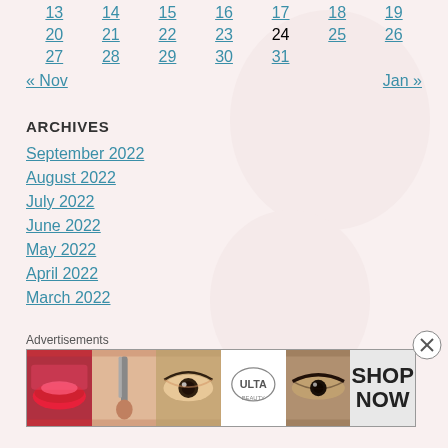| 13 | 14 | 15 | 16 | 17 | 18 | 19 |
| 20 | 21 | 22 | 23 | 24 | 25 | 26 |
| 27 | 28 | 29 | 30 | 31 |  |  |
« Nov    Jan »
ARCHIVES
September 2022
August 2022
July 2022
June 2022
May 2022
April 2022
March 2022
Advertisements
[Figure (infographic): Ulta Beauty advertisement banner showing makeup images and SHOP NOW text]